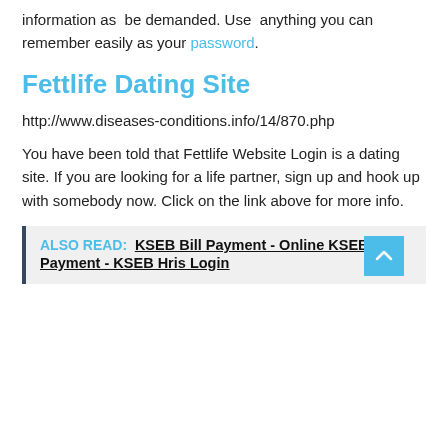information as be demanded. Use anything you can remember easily as your password.
Fettlife Dating Site
http://www.diseases-conditions.info/14/870.php
You have been told that Fettlife Website Login is a dating site. If you are looking for a life partner, sign up and hook up with somebody now. Click on the link above for more info.
ALSO READ:  KSEB Bill Payment - Online KSEB Payment - KSEB Hris Login